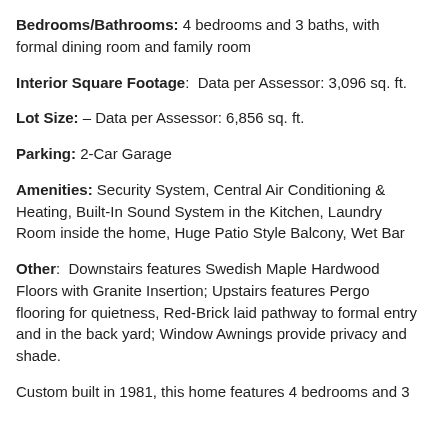Bedrooms/Bathrooms: 4 bedrooms and 3 baths, with formal dining room and family room
Interior Square Footage: Data per Assessor: 3,096 sq. ft.
Lot Size: – Data per Assessor: 6,856 sq. ft.
Parking: 2-Car Garage
Amenities: Security System, Central Air Conditioning & Heating, Built-In Sound System in the Kitchen, Laundry Room inside the home, Huge Patio Style Balcony, Wet Bar
Other: Downstairs features Swedish Maple Hardwood Floors with Granite Insertion; Upstairs features Pergo flooring for quietness, Red-Brick laid pathway to formal entry and in the back yard; Window Awnings provide privacy and shade.
Custom built in 1981, this home features 4 bedrooms and 3